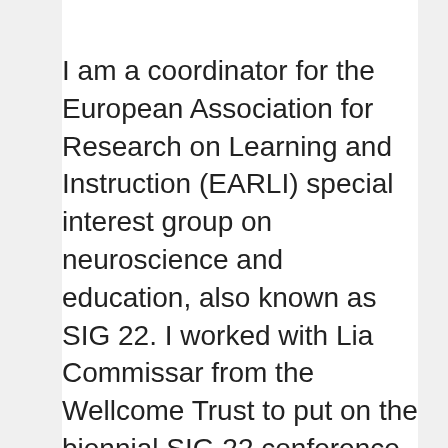I am a coordinator for the European Association for Research on Learning and Instruction (EARLI) special interest group on neuroscience and education, also known as SIG 22. I worked with Lia Commissar from the Wellcome Trust to put on the biennial SIG 22 conference in June which was a great chance to bring together educators and researchers. In addition to the usual conference activities like talks and poster sessions, we also had an “open space” event, where anyone could suggest a topic to discuss, and small groups got together to talk about them. I am looking forward to seeing what comes of those discussions—initial feedback was positive and suggested that some new ideas for projects